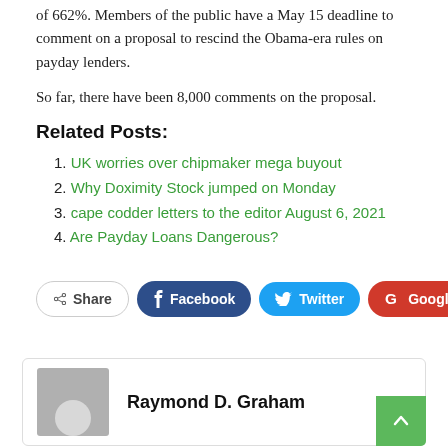of 662%. Members of the public have a May 15 deadline to comment on a proposal to rescind the Obama-era rules on payday lenders.
So far, there have been 8,000 comments on the proposal.
Related Posts:
UK worries over chipmaker mega buyout
Why Doximity Stock jumped on Monday
cape codder letters to the editor August 6, 2021
Are Payday Loans Dangerous?
[Figure (infographic): Social sharing buttons: Share, Facebook, Twitter, Google+, plus button]
Raymond D. Graham